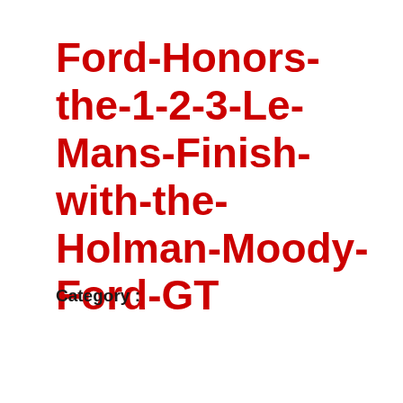Ford-Honors-the-1-2-3-Le-Mans-Finish-with-the-Holman-Moody-Ford-GT
Category :